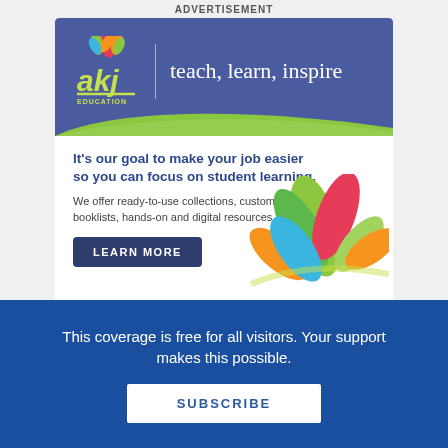ADVERTISEMENT
[Figure (logo): AKJ Education advertisement banner with blue background, AKJ logo, tagline 'teach, learn, inspire', green wave, bold headline about making jobs easier, subtext about ready-to-use collections, and LEARN MORE button with decorative leaf illustrations]
This coverage is free for all visitors. Your support makes this possible.
SUBSCRIBE